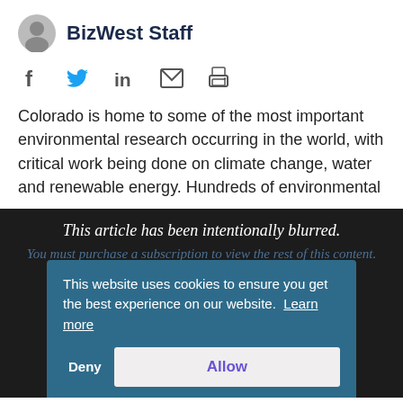BizWest Staff
[Figure (other): Social media sharing icons: Facebook, Twitter, LinkedIn, Email, Print]
Colorado is home to some of the most important environmental research occurring in the world, with critical work being done on climate change, water and renewable energy. Hundreds of environmental
This article has been intentionally blurred. You must purchase a subscription to view the rest of this content.
Want to See More!?
This website uses cookies to ensure you get the best experience on our website. Learn more
Deny
Allow